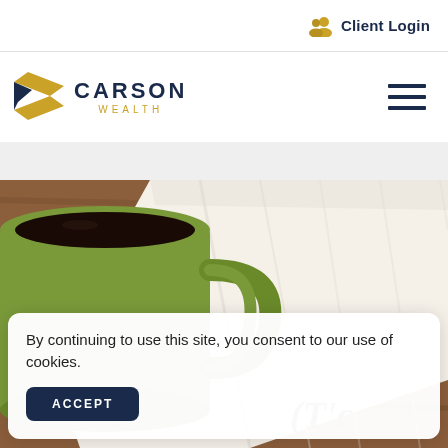Client Login
[Figure (logo): Carson Wealth logo with gold arrow/chevron icon and navy CARSON WEALTH text]
[Figure (illustration): Hamburger menu icon (three horizontal navy lines)]
[Figure (photo): Close-up photo of a green coffee mug filled with black coffee, placed on a white paper napkin on a wooden surface. Partial text 'IT'S' visible on the napkin.]
By continuing to use this site, you consent to our use of cookies.
ACCEPT